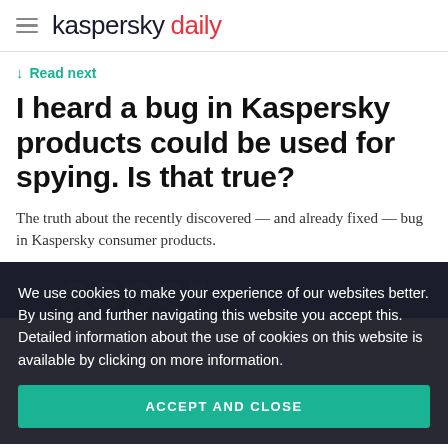kaspersky daily
↓ Read next
I heard a bug in Kaspersky products could be used for spying. Is that true?
The truth about the recently discovered — and already fixed — bug in Kaspersky consumer products.
We use cookies to make your experience of our websites better. By using and further navigating this website you accept this. Detailed information about the use of cookies on this website is available by clicking on more information.
ACCEPT AND CLOSE